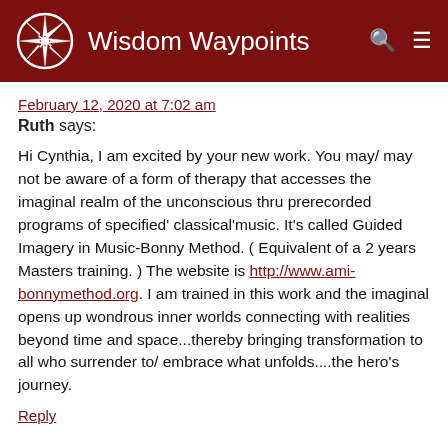Wisdom Waypoints
February 12, 2020 at 7:02 am
Ruth says:
Hi Cynthia, I am excited by your new work. You may/may not be aware of a form of therapy that accesses the imaginal realm of the unconscious thru prerecorded programs of specified' classical'music. It's called Guided Imagery in Music-Bonny Method. ( Equivalent of a 2 years Masters training. ) The website is http://www.ami-bonnymethod.org. I am trained in this work and the imaginal opens up wondrous inner worlds connecting with realities beyond time and space...thereby bringing transformation to all who surrender to/ embrace what unfolds....the hero's journey.
Reply